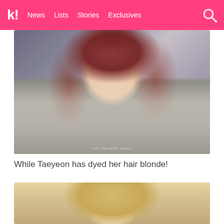k! News Lists Stories Exclusives
[Figure (photo): Young woman with reddish-brown hair wearing a grey tweed jacket and white top, looking down, seated in or near a car. Watermark text visible at bottom.]
While Taeyeon has dyed her hair blonde!
[Figure (photo): Partial view of person with blonde hair, cropped at bottom of page.]